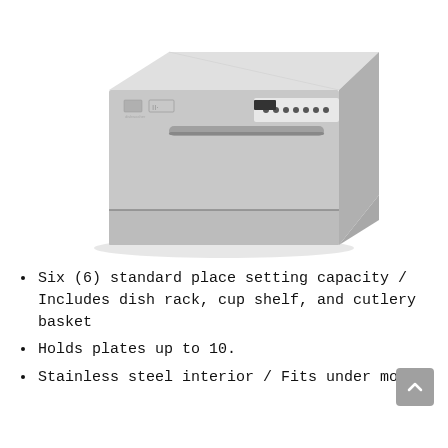[Figure (photo): A silver countertop dishwasher with a control panel on the upper right side, a horizontal bar handle, and a bottom drawer. The appliance has a modern stainless steel appearance.]
Six (6) standard place setting capacity / Includes dish rack, cup shelf, and cutlery basket
Holds plates up to 10.
Stainless steel interior / Fits under most